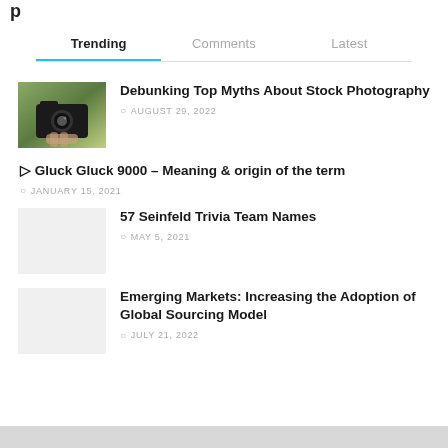p
Trending | Comments | Latest
Debunking Top Myths About Stock Photography
AUGUST 29, 2022
▷ Gluck Gluck 9000 – Meaning & origin of the term
JANUARY 15, 2021
57 Seinfeld Trivia Team Names
MAY 5, 2021
Emerging Markets: Increasing the Adoption of Global Sourcing Model
JULY 21, 2022